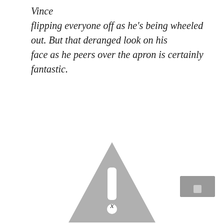Vince
flipping everyone off as he's being wheeled out. But that deranged look on his
face as he peers over the apron is certainly fantastic.
[Figure (illustration): A grey warning triangle icon with an exclamation mark, rounded corners, centered on the page.]
[Figure (other): A small grey rectangle icon in the bottom-right corner, resembling a UI button or thumbnail.]
x